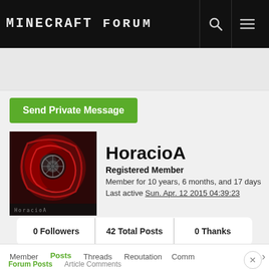Minecraft Forum
Send Private Message
HoracioA
Registered Member
Member for 10 years, 6 months, and 17 days
Last active Sun. Apr. 12 2015 04:39:23
| 0 Followers | 42 Total Posts | 0 Thanks |
| --- | --- | --- |
Member | Posts | Threads | Reputation | Comm >
Forum Posts | Article Comments